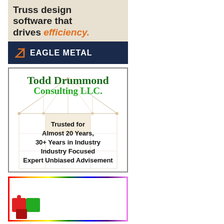[Figure (illustration): Eagle Metal advertisement: top section shows truss design software text over beige background with truss image. Bottom section is dark navy with Eagle Metal logo and orange arrow icon. Text reads: 'Truss design software that drives efficiency.' with EAGLE METAL branding.]
[Figure (illustration): Todd Drummond Consulting LLC advertisement. Green serif text title 'Todd Drummond Consulting LLC.' over a truss wireframe background. Body text: 'Trusted for Almost 20 Years, 30+ Years in Industry, Industry Focused, Expert Unbiased Advisement'. Bordered box.]
[Figure (illustration): Third advertisement partially visible at bottom with rainbow/multicolor border. Contains puzzle piece graphics at bottom left.]